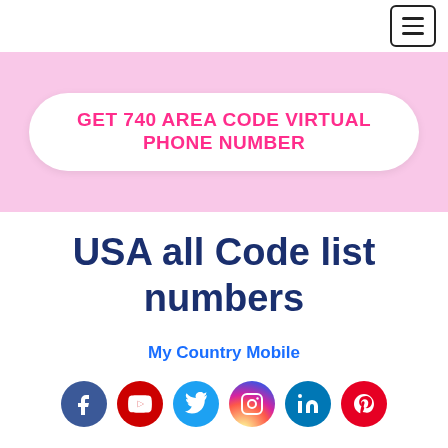Navigation menu button
GET 740 AREA CODE VIRTUAL PHONE NUMBER
USA all Code list numbers
My Country Mobile
[Figure (infographic): Row of six social media icons: Facebook (dark blue), YouTube (red), Twitter (light blue), Instagram (pink/purple gradient circle), LinkedIn (dark blue), Pinterest (red)]